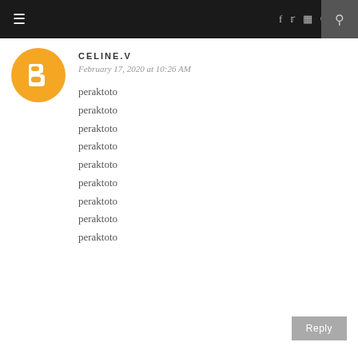≡  f  twitter  instagram  pinterest  heart  [search]
[Figure (logo): Blogger orange circle avatar icon with white B letter]
CELINE.V
February 17, 2020 at 10:26 AM
peraktoto
peraktoto
peraktoto
peraktoto
peraktoto
peraktoto
peraktoto
peraktoto
peraktoto
Reply